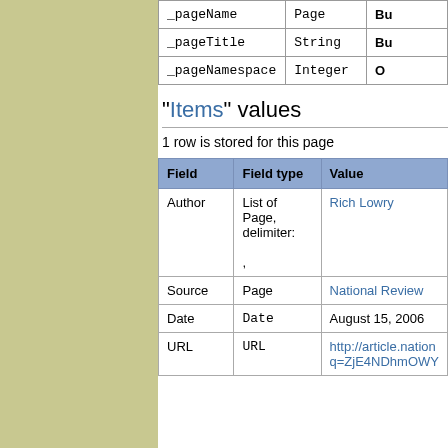| Field | Type |  |
| --- | --- | --- |
| _pageName | Page | Bu |
| _pageTitle | String | Bu |
| _pageNamespace | Integer | O |
"Items" values
1 row is stored for this page
| Field | Field type | Value |
| --- | --- | --- |
| Author | List of Page, delimiter: , | Rich Lowry |
| Source | Page | National Review |
| Date | Date | August 15, 2006 |
| URL | URL | http://article.nation...q=ZjE4NDhmOWY |